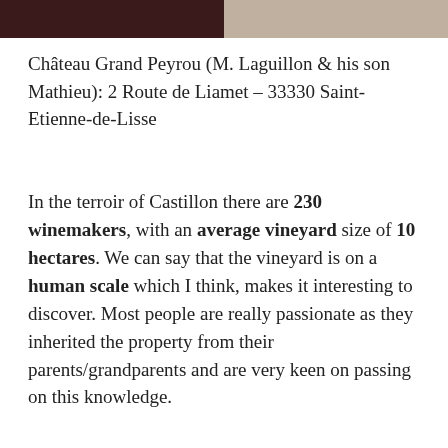[Figure (photo): Two partial photos at the top of the page: left side is a dark reddish-brown image, right side is a lighter beige/tan image]
Château Grand Peyrou (M. Laguillon & his son Mathieu): 2 Route de Liamet – 33330 Saint-Etienne-de-Lisse
In the terroir of Castillon there are 230 winemakers, with an average vineyard size of 10 hectares. We can say that the vineyard is on a human scale which I think, makes it interesting to discover. Most people are really passionate as they inherited the property from their parents/grandparents and are very keen on passing on this knowledge.